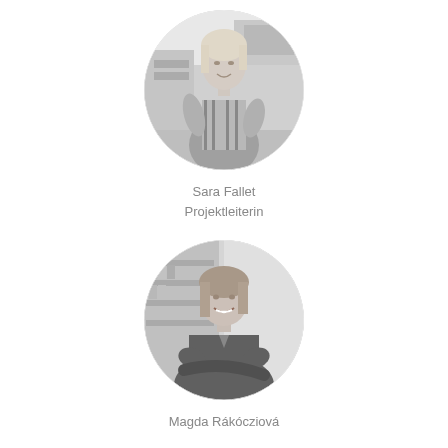[Figure (photo): Circular black-and-white portrait photo of Sara Fallet standing in an interior setting, wearing a striped outfit]
Sara Fallet
Projektleiterin
[Figure (photo): Circular black-and-white portrait photo of Magda Rákócziová smiling in an interior setting with shelves in the background]
Magda Rákócziová